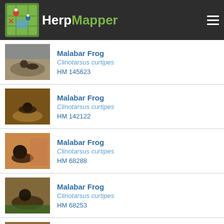HerpMapper
Malabar Frog
Clinotarsus curtipes
HM 145623
Malabar Frog
Clinotarsus curtipes
HM 142122
Malabar Frog
Clinotarsus curtipes
HM 68288
Malabar Frog
Clinotarsus curtipes
HM 68253
Malabar Frog
Clinotarsus curtipes
HM 68249